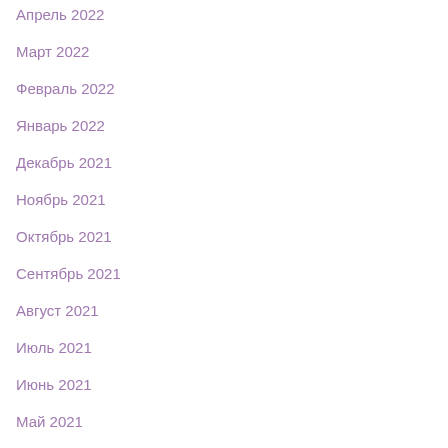Апрель 2022
Март 2022
Февраль 2022
Январь 2022
Декабрь 2021
Ноябрь 2021
Октябрь 2021
Сентябрь 2021
Август 2021
Июль 2021
Июнь 2021
Май 2021
Апрель 2021
Март 2021